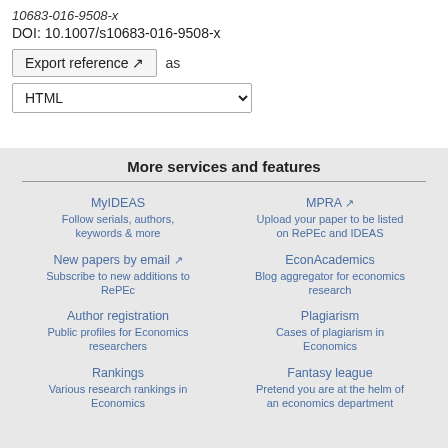10683-016-9508-x
DOI: 10.1007/s10683-016-9508-x
Export reference ↗ as
HTML
More services and features
MyIDEAS
Follow serials, authors, keywords & more
MPRA ↗
Upload your paper to be listed on RePEc and IDEAS
New papers by email ↗
Subscribe to new additions to RePEc
EconAcademics
Blog aggregator for economics research
Author registration
Public profiles for Economics researchers
Plagiarism
Cases of plagiarism in Economics
Rankings
Various research rankings in Economics
Fantasy league
Pretend you are at the helm of an economics department